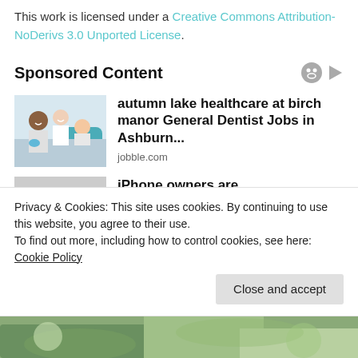This work is licensed under a Creative Commons Attribution-NoDerivs 3.0 Unported License.
Sponsored Content
[Figure (photo): Photo of two medical professionals (a Black male and a white female in white coats) with a young child patient in a dental chair]
autumn lake healthcare at birch manor General Dentist Jobs in Ashburn...
jobble.com
[Figure (photo): Partial image showing a colorful movie/entertainment scene (iPhone owners ad)]
iPhone owners are
Privacy & Cookies: This site uses cookies. By continuing to use this website, you agree to their use.
To find out more, including how to control cookies, see here: Cookie Policy
Close and accept
[Figure (photo): Bottom strip showing a partial outdoor/nature image]